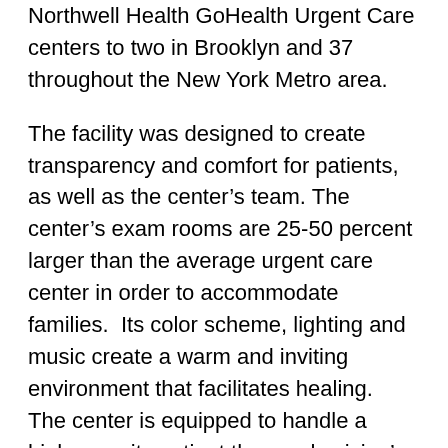Northwell Health GoHealth Urgent Care centers to two in Brooklyn and 37 throughout the New York Metro area.
The facility was designed to create transparency and comfort for patients, as well as the center’s team. The center’s exam rooms are 25-50 percent larger than the average urgent care center in order to accommodate families.  Its color scheme, lighting and music create a warm and inviting environment that facilitates healing.  The center is equipped to handle a higher acuity patient than a physician’s office, with x-ray and laboratory services on site.
The partnership between Northwell Health and GoHealth Urgent Care allows the facility to bring high quality clinical care paired with industry-leading customer experience, innovative technology and